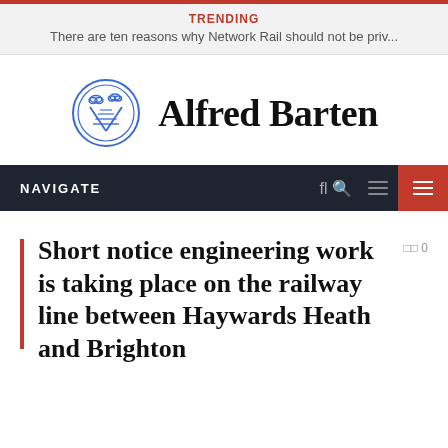TRENDING
There are ten reasons why Network Rail should not be priv...
[Figure (logo): Alfred Barten logo: circular railway line illustration and bold serif wordmark 'Alfred Barten']
NAVIGATE
Short notice engineering work is taking place on the railway line between Haywards Heath and Brighton